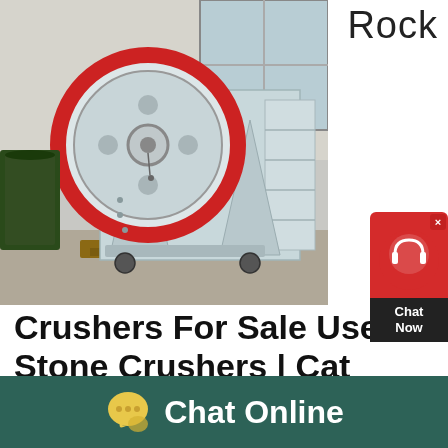Rock
[Figure (photo): Large industrial jaw crusher machine (grey/light blue color) with red flywheel, photographed in a factory/warehouse setting]
[Figure (infographic): Red and black chat widget button with headset icon and 'Chat Now' text]
Crushers For Sale Used Stone Crushers | Cat
Used Crushers for Sale Reducing the size of rocks and stones is an essential process in industries such as quarry and aggregates, construction, mining and material
Chat Online